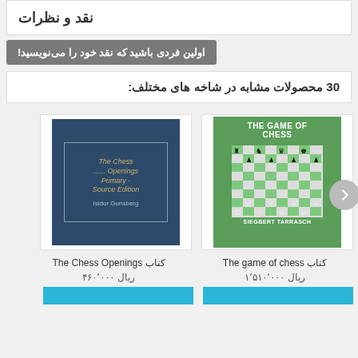نقد و نظرات
اولین فردی باشید که نقد خود را می‌نویسید!
30 محصولات مشابه در شاخه های مختلف:
[Figure (illustration): Book cover: The Game of Chess by Siegbert Tarrasch, green cover with chess board]
کتاب The game of chess
ریال ۱٬۵۱۰٬۰۰۰
[Figure (illustration): Book cover: The Chess Openings Primary Source Edition by Isidor Gunsberg, dark blue cover]
کتاب The Chess Openings
ریال ۴۶۰٬۰۰۰